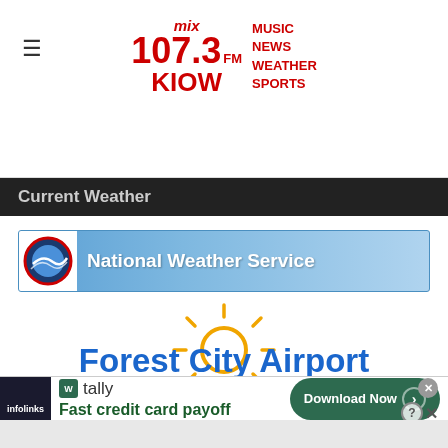Mix 107.3 FM KIOW — MUSIC NEWS WEATHER SPORTS
Current Weather
[Figure (logo): National Weather Service banner with NWS logo and blue gradient background]
[Figure (illustration): Sun icon — orange circle with rays on white background]
Forest City Airport
[Figure (other): Infolinks advertisement for Tally app — Fast credit card payoff — Download Now button]